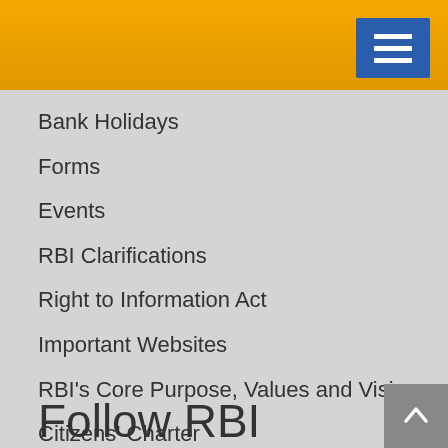Bank Holidays
Forms
Events
RBI Clarifications
Right to Information Act
Important Websites
RBI's Core Purpose, Values and Vision
Citizens' Charter
Timelines for Regulatory Approvals
Complaints
Banking Glossary
Contact Us
Follow RBI